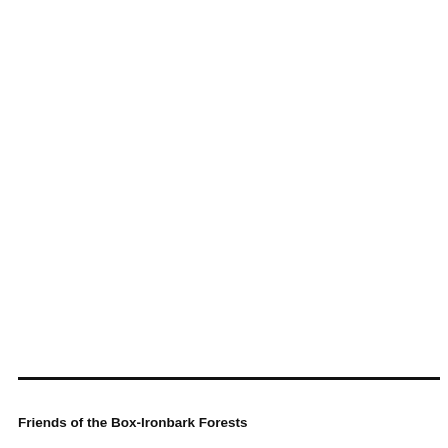Friends of the Box-Ironbark Forests